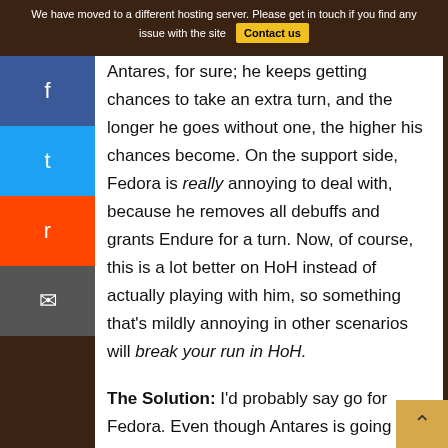We have moved to a different hosting server. Please get in touch if you find any issue with the site  Contact us
Antares, for sure; he keeps getting chances to take an extra turn, and the longer he goes without one, the higher his chances become. On the support side, Fedora is really annoying to deal with, because he removes all debuffs and grants Endure for a turn. Now, of course, this is a lot better on HoH instead of actually playing with him, so something that's mildly annoying in other scenarios will break your run in HoH.
The Solution: I'd probably say go for Fedora. Even though Antares is going to go insane if he gets extra turns, that doesn't mean you should let Fedora be ignored. Endure is surprisingly a really annoying buff to face against if you don't have a